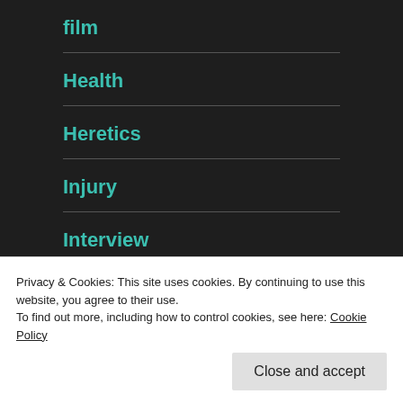film
Health
Heretics
Injury
Interview
japan
Privacy & Cookies: This site uses cookies. By continuing to use this website, you agree to their use.
To find out more, including how to control cookies, see here: Cookie Policy
Close and accept